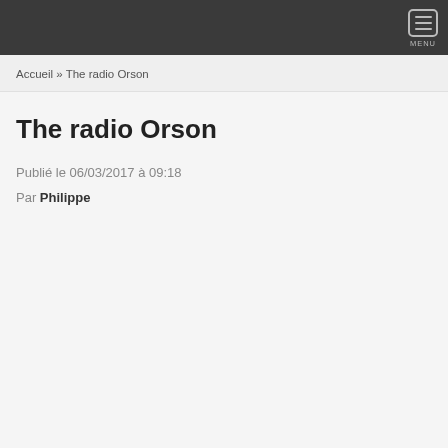MENU
Accueil » The radio Orson
The radio Orson
Publié le 06/03/2017 à 09:18
Par Philippe